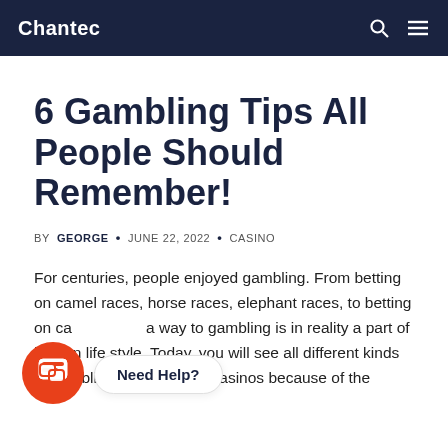Chantec
6 Gambling Tips All People Should Remember!
BY GEORGE · JUNE 22, 2022 · CASINO
For centuries, people enjoyed gambling. From betting on camel races, horse races, elephant races, to betting on card games, the way to gambling is in reality a part of human life style. Today, you will see all different kinds of gambling. You can see casinos because of the